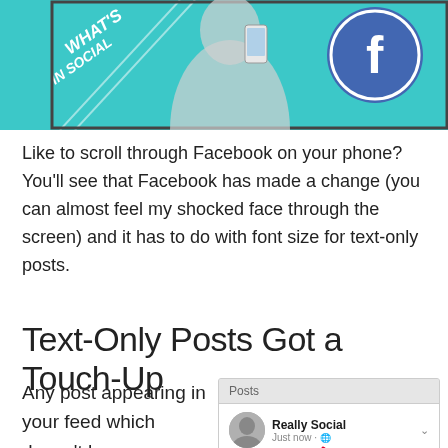[Figure (screenshot): Banner image showing a teal/turquoise social media graphic with text 'WHAT'S IN SOCIAL', a woman holding a phone, and a Facebook logo icon]
Like to scroll through Facebook on your phone? You'll see that Facebook has made a change (you can almost feel my shocked face through the screen) and it has to do with font size for text-only posts.
Text-Only Posts Got a Touch-Up
Any post appearing in your feed which doesn't have an image, video, or link included now appears to be in
[Figure (screenshot): Screenshot of Facebook mobile feed showing two posts. First post by 'Really Social' with text 'Have you noticed a slight change to certain posts in your Facebook mobile feed? Text-only posts now have their own larger font-style.' and a second post by 'Rachel Moore'. A red arrow points downward to the second post.]